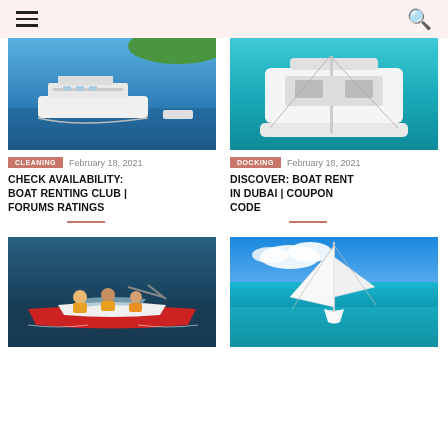Navigation menu and search icon
[Figure (photo): Aerial view of a large white yacht and smaller boats near a green island in blue water]
CLEANING  February 18, 2021
CHECK AVAILABILITY: BOAT RENTING CLUB | FORUMS RATINGS
[Figure (photo): Aerial view of a white catamaran sailing on turquoise water]
DOCKING  February 18, 2021
DISCOVER: BOAT RENT IN DUBAI | COUPON CODE
[Figure (photo): People in life jackets riding a red speedboat on dark water]
[Figure (photo): White sailboat anchored in shallow turquoise water with blue sky and clouds]